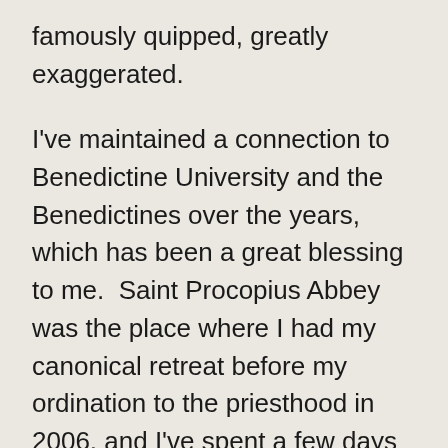famously quipped, greatly exaggerated.
I've maintained a connection to Benedictine University and the Benedictines over the years, which has been a great blessing to me.  Saint Procopius Abbey was the place where I had my canonical retreat before my ordination to the priesthood in 2006, and I've spent a few days there now and again for times of reflection and rest.  I keep in contact with many of the monks.  I've been privileged as well to celebrate Mass for the sisters at Sacred Heart Monastery occasionally over the years, which helped me to remember my time in college